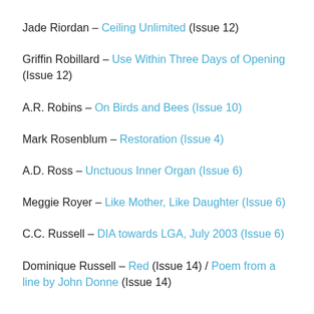Jade Riordan – Ceiling Unlimited (Issue 12)
Griffin Robillard – Use Within Three Days of Opening (Issue 12)
A.R. Robins – On Birds and Bees (Issue 10)
Mark Rosenblum – Restoration (Issue 4)
A.D. Ross – Unctuous Inner Organ (Issue 6)
Meggie Royer – Like Mother, Like Daughter (Issue 6)
C.C. Russell – DIA towards LGA, July 2003 (Issue 6)
Dominique Russell – Red (Issue 14) / Poem from a line by John Donne (Issue 14)